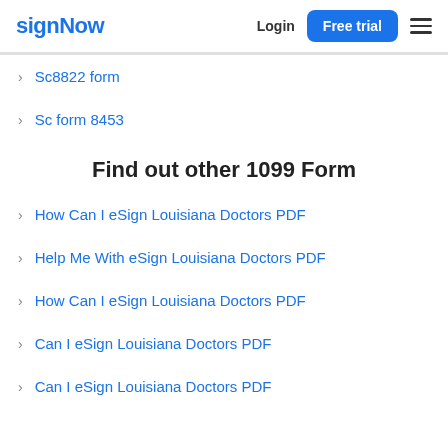signNow  Login  Free trial
Sc8822 form
Sc form 8453
Find out other 1099 Form
How Can I eSign Louisiana Doctors PDF
Help Me With eSign Louisiana Doctors PDF
How Can I eSign Louisiana Doctors PDF
Can I eSign Louisiana Doctors PDF
Can I eSign Louisiana Doctors PDF